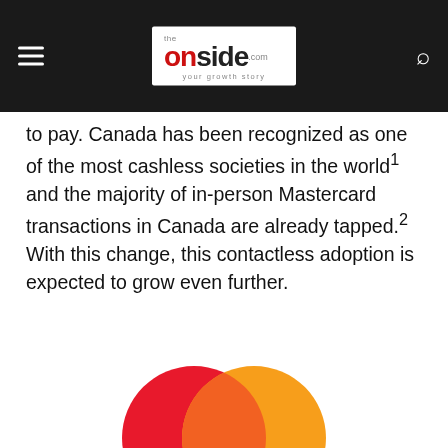The Onside — your growth story
to pay. Canada has been recognized as one of the most cashless societies in the world¹ and the majority of in-person Mastercard transactions in Canada are already tapped.² With this change, this contactless adoption is expected to grow even further.
[Figure (logo): Mastercard logo: two overlapping circles, red on left and orange on right with orange-yellow overlap in center]
Mastercard is enabling higher contactless payments in Canada to give consumers a safer no-touch way to pay. (CNW Group/Mastercard)